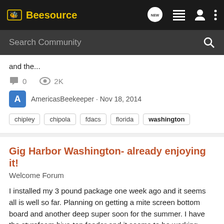Beesource
and the...
0   2K
AmericasBeekeeper · Nov 18, 2014
chipley  chipola  fdacs  florida  washington
Gig Harbor Washington- already enjoying it!
Welcome Forum
I installed my 3 pound package one week ago and it seems all is well so far. Planning on getting a mite screen bottom board and another deep super soon for the summer. I have the styrofoam hive-top feeder and it seems to be working. Moisture is building up like crazy inside the telescoping...